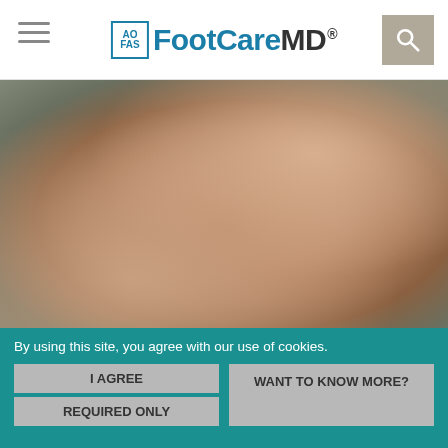[Figure (logo): AOFAS FootCareMD logo with hamburger menu and search icon in website header]
[Figure (photo): Close-up photo of a person holding their ankle/Achilles tendon area, seated on pavement, wearing a dark shoe]
ACHILLES
By using this site, you agree with our use of cookies.
I AGREE
REQUIRED ONLY
WANT TO KNOW MORE?